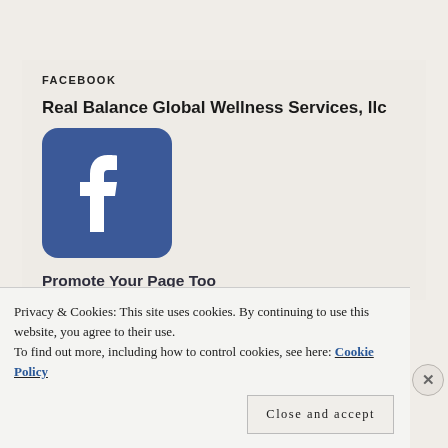FACEBOOK
Real Balance Global Wellness Services, llc
[Figure (logo): Facebook logo icon — blue square with rounded corners and white 'f' lettermark]
Promote Your Page Too
Privacy & Cookies: This site uses cookies. By continuing to use this website, you agree to their use.
To find out more, including how to control cookies, see here: Cookie Policy
Close and accept